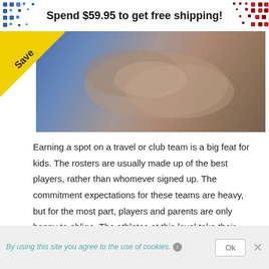Spend $59.95 to get free shipping!
[Figure (photo): Close-up photo of hands, possibly folding or holding something, with a blue/warm-toned blurred background. A yellow 'Save' badge is overlaid at the top-left corner.]
Earning a spot on a travel or club team is a big feat for kids. The rosters are usually made up of the best players, rather than whomever signed up. The commitment expectations for these teams are heavy, but for the most part, players and parents are only happy to oblige. The athletes at this level take their sport seriously and want to do whatever it takes to succeed. Parents pour in the endless hours of travel to and from games and practices. Hold the fundraisers, pack the snacks, make the late
By using this site you agree to the use of cookies.